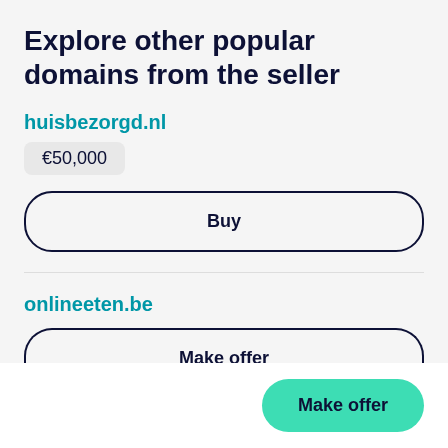Explore other popular domains from the seller
huisbezorgd.nl
€50,000
Buy
onlineeten.be
Make offer
Make offer